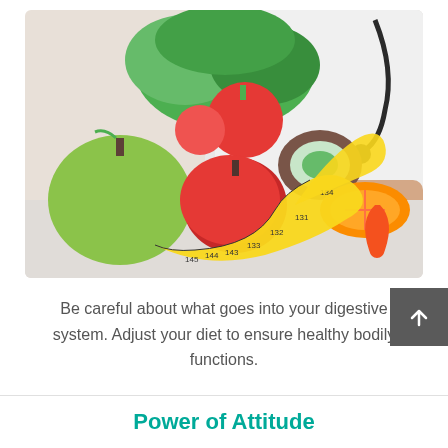[Figure (photo): A doctor in a white coat with a stethoscope sitting behind a table full of fresh fruits and vegetables including green apple, red apples, kiwi, tomatoes, orange, carrot, lettuce, and a yellow measuring tape coiled among them.]
Be careful about what goes into your digestive system. Adjust your diet to ensure healthy bodily functions.
Power of Attitude